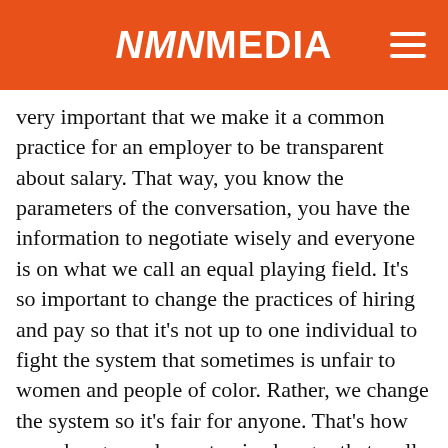NMN MEDIA
very important that we make it a common practice for an employer to be transparent about salary. That way, you know the parameters of the conversation, you have the information to negotiate wisely and everyone is on what we call an equal playing field. It’s so important to change the practices of hiring and pay so that it’s not up to one individual to fight the system that sometimes is unfair to women and people of color. Rather, we change the system so it’s fair for anyone. That’s how you change, make systemic changes that really create that equity that will reach a company and create a fair community and society. Pay equity is the goal that we try to achieve for everyone.